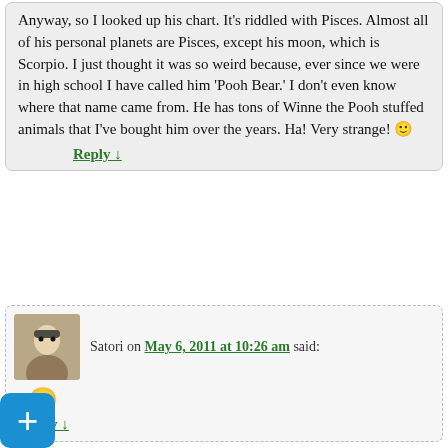Anyway, so I looked up his chart. It’s riddled with Pisces. Almost all of his personal planets are Pisces, except his moon, which is Scorpio. I just thought it was so weird because, ever since we were in high school I have called him ‘Pooh Bear.’ I don’t even know where that name came from. He has tons of Winne the Pooh stuffed animals that I’ve bought him over the years. Ha! Very strange! 🙂
Reply ↓
Satori on May 6, 2011 at 10:26 am said:
[Figure (other): Smiley face emoji / emoticon]
Reply ↓
Nicole on May 6, 2011 at 11:26 am said:
I, somehow, have Scorpio as both my ascendant AND my 2nd house cusp. Most of the 2nd house is in Sagittarius, though.

I do tend towards secretiveness about what is mine- creative projects, sexuality, my true feelings.
Both Uranus and Neptune are there in Sag. I’m not sure what that means, but I’ve been told that trine my Midheaven I will supposedly have an usual career path. Any thoughts about having the same ascendant and 2nd house sign?